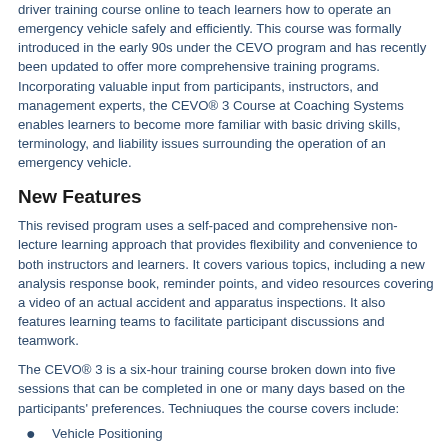driver training course online to teach learners how to operate an emergency vehicle safely and efficiently. This course was formally introduced in the early 90s under the CEVO program and has recently been updated to offer more comprehensive training programs. Incorporating valuable input from participants, instructors, and management experts, the CEVO® 3 Course at Coaching Systems enables learners to become more familiar with basic driving skills, terminology, and liability issues surrounding the operation of an emergency vehicle.
New Features
This revised program uses a self-paced and comprehensive non-lecture learning approach that provides flexibility and convenience to both instructors and learners. It covers various topics, including a new analysis response book, reminder points, and video resources covering a video of an actual accident and apparatus inspections. It also features learning teams to facilitate participant discussions and teamwork.
The CEVO® 3 is a six-hour training course broken down into five sessions that can be completed in one or many days based on the participants' preferences. Techniuques the course covers include:
Vehicle Positioning
Parking Procedures